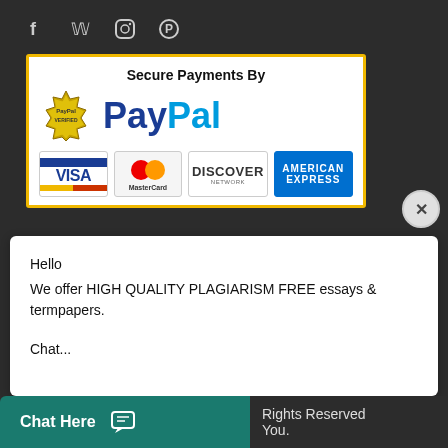[Figure (screenshot): Social media icons: Facebook (f), Twitter (bird), Instagram (camera), Pinterest (P) on dark background]
[Figure (infographic): Secure Payments By PayPal banner with PayPal Verified badge, PayPal logo, Visa, MasterCard, Discover Network, and American Express card logos on white background with yellow border]
Hello
We offer HIGH QUALITY PLAGIARISM FREE essays & termpapers.

Chat...
Chat Here
Rights Reserved
You.